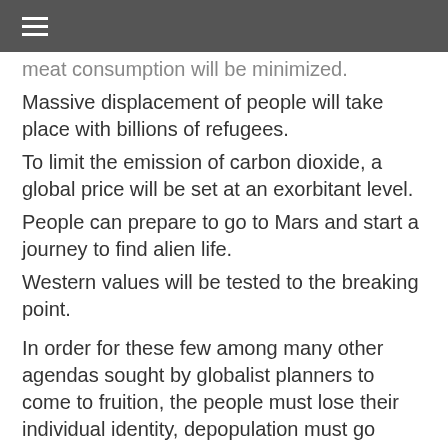≡
meat consumption will be minimized.
Massive displacement of people will take place with billions of refugees.
To limit the emission of carbon dioxide, a global price will be set at an exorbitant level.
People can prepare to go to Mars and start a journey to find alien life.
Western values will be tested to the breaking point.
In order for these few among many other agendas sought by globalist planners to come to fruition, the people must lose their individual identity, depopulation must go forward, transhuman reconstruction must take place in a melding of natural biology and artificial intelligence, natural gender identity would disappear in favor of a non-gender society, reproduction would be curtailed,